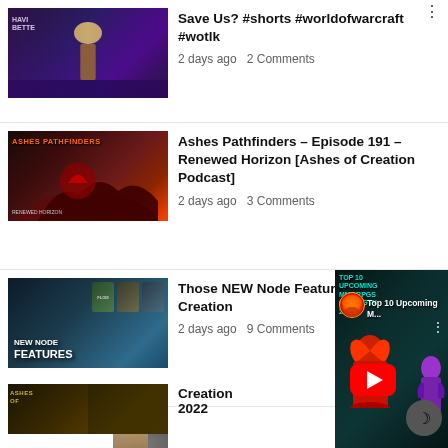[Figure (screenshot): YouTube video thumbnail: dark stage with purple lighting, two figures on stage]
Save Us? #shorts #worldofwarcraft #wotlk
2 days ago   2 Comments
[Figure (screenshot): Ashes Pathfinders podcast thumbnail with orange text on dark red background]
Ashes Pathfinders – Episode 191 – Renewed Horizon [Ashes of Creation Podcast]
2 days ago   3 Comments
[Figure (screenshot): New Node Features thumbnail with bold white text on dark blue forest background]
Those NEW Node Features | Ashes of Creation
2 days ago   9 Comments
[Figure (screenshot): YouTube video overlay: Top 10 Upcoming MMORPGs with play button, channel icon, and night mode button]
[Figure (screenshot): Wo sind alle hin? thumbnail with dog and person in car]
[Figure (screenshot): Ashes of Creation 2022 thumbnail partial at bottom]
Creation 2022